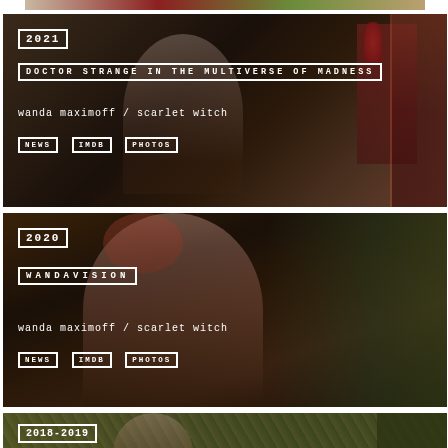[Figure (photo): Partial top strip of a colorful image, partially visible at top of page]
[Figure (photo): Movie card for Doctor Strange in the Multiverse of Madness (2021), dark background with rooster silhouette and red curtain. Shows year badge '2021', title 'DOCTOR STRANGE IN THE MULTIVERSE OF MADNESS', role 'wanda maximoff / scarlet witch', and links NEWS, IMDB, PHOTOS.]
[Figure (photo): TV show card for WandaVision (2020), dark warm background with woman with red hair smiling. Shows year badge '2020', title 'WANDAVISION', role 'wanda maximoff / scarlet witch', and links NEWS, IMDB, PHOTOS.]
[Figure (photo): TV show card for Sorry for Your Loss (2018-2019), olive/green foliage background with dark-haired woman. Shows year badge '2018-2019' and title 'SORRY FOR YOUR LOSS'.]